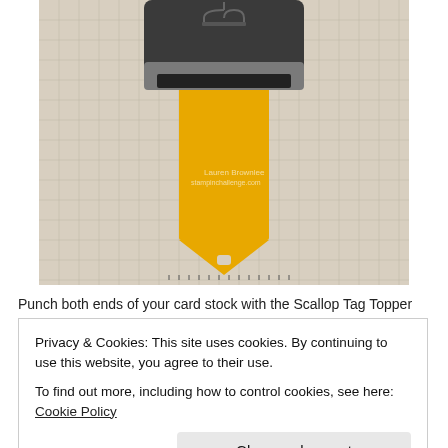[Figure (photo): A paper punch tool (Scallop Tag Topper punch) shown from above on a grid cutting mat, with a yellow card stock strip inserted showing the punched tag shape with scalloped top and notched bottom point.]
Punch both ends of your card stock with the Scallop Tag Topper
Privacy & Cookies: This site uses cookies. By continuing to use this website, you agree to their use.
To find out more, including how to control cookies, see here: Cookie Policy
Close and accept
Advertisements